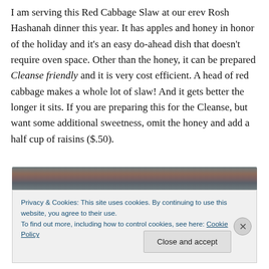I am serving this Red Cabbage Slaw at our erev Rosh Hashanah dinner this year. It has apples and honey in honor of the holiday and it's an easy do-ahead dish that doesn't require oven space. Other than the honey, it can be prepared Cleanse friendly and it is very cost efficient. A head of red cabbage makes a whole lot of slaw! And it gets better the longer it sits. If you are preparing this for the Cleanse, but want some additional sweetness, omit the honey and add a half cup of raisins ($.50).
[Figure (photo): Top edge of a food photograph showing a textured surface, partially visible.]
Privacy & Cookies: This site uses cookies. By continuing to use this website, you agree to their use.
To find out more, including how to control cookies, see here: Cookie Policy